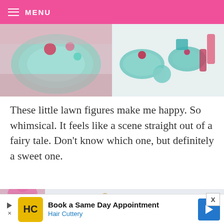MENU
[Figure (photo): Two side-by-side photos showing colorful lawn decorations — teal and pink ornamental pieces in snow on the left, and teal/red geometric shapes arranged in snow on the right.]
These little lawn figures make me happy. So whimsical. It feels like a scene straight out of a fairy tale. Don't know which one, but definitely a sweet one.
[Figure (photo): A person wearing a pink knit hat with a pom-pom stands in a snowy outdoor scene with small decorative lawn figurines including a lantern and gnome-like figures.]
[Figure (other): Advertisement banner: Book a Same Day Appointment – Hair Cuttery, with yellow HC logo and blue arrow button.]